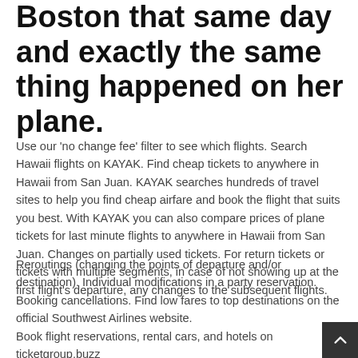Boston that same day and exactly the same thing happened on her plane.
Use our 'no change fee' filter to see which flights. Search Hawaii flights on KAYAK. Find cheap tickets to anywhere in Hawaii from San Juan. KAYAK searches hundreds of travel sites to help you find cheap airfare and book the flight that suits you best. With KAYAK you can also compare prices of plane tickets for last minute flights to anywhere in Hawaii from San Juan. Changes on partially used tickets. For return tickets or tickets with multiple segments, in case of not showing up at the first flight's departure, any changes to the subsequent flights.
Reroutings (changing the points of departure and/or destination). Individual modifications in a party reservation. Booking cancellations. Find low fares to top destinations on the official Southwest Airlines website.
Book flight reservations, rental cars, and hotels on ticketgroup.buzz